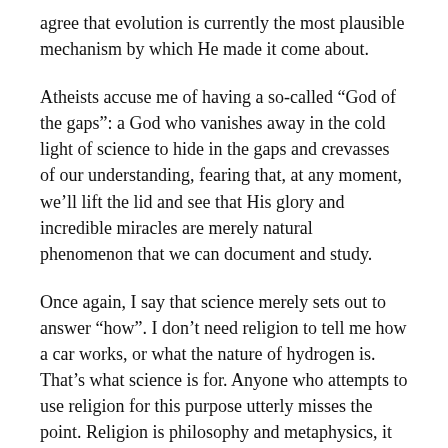agree that evolution is currently the most plausible mechanism by which He made it come about.
Atheists accuse me of having a so-called “God of the gaps”: a God who vanishes away in the cold light of science to hide in the gaps and crevasses of our understanding, fearing that, at any moment, we’ll lift the lid and see that His glory and incredible miracles are merely natural phenomenon that we can document and study.
Once again, I say that science merely sets out to answer “how”. I don’t need religion to tell me how a car works, or what the nature of hydrogen is. That’s what science is for. Anyone who attempts to use religion for this purpose utterly misses the point. Religion is philosophy and metaphysics, it is not interested in the nature of cars or hydrogen. That’s why you will see no mention of cars or hydrogen in